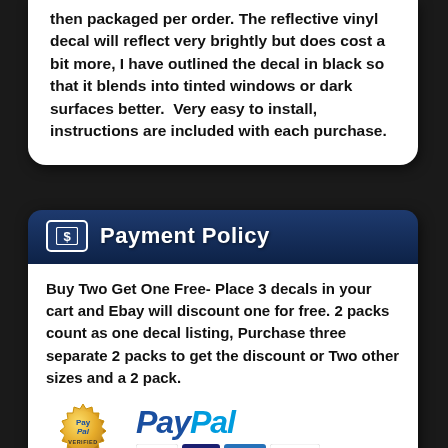then packaged per order. The reflective vinyl decal will reflect very brightly but does cost a bit more, I have outlined the decal in black so that it blends into tinted windows or dark surfaces better.  Very easy to install, instructions are included with each purchase.
Payment Policy
Buy Two Get One Free- Place 3 decals in your cart and Ebay will discount one for free. 2 packs count as one decal listing, Purchase three separate 2 packs to get the discount or Two other sizes and a 2 pack.
[Figure (logo): PayPal Verified gold seal badge and PayPal wordmark logo with MasterCard, Visa, American Express, and Discover card logos]